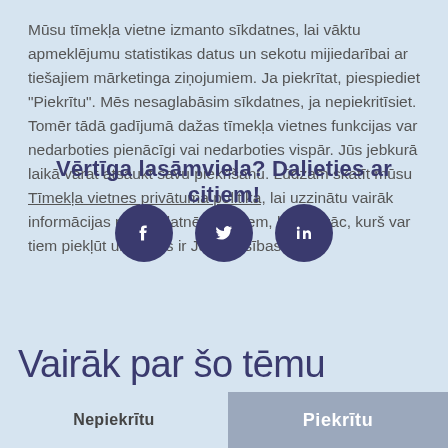Mūsu tīmekļa vietne izmanto sīkdatnes, lai vāktu apmeklējumu statistikas datus un sekotu mijiedarībai ar tiešajiem mārketinga ziņojumiem. Ja piekrītat, piespiediet "Piekrītu". Mēs nesaglabāsim sīkdatnes, ja nepiekritīsiet. Tomēr tādā gadījumā dažas tīmekļa vietnes funkcijas var nedarboties pienācīgi vai nedarboties vispār. Jūs jebkurā laikā varat atsaukt savu piekrišanu. Lūdzam skatīt mūsu Tīmekļa vietnes privātuma politika, lai uzzinātu vairāk informācijas par sīkdatnēm, datiem, ko tās vāc, kurš var tiem piekļūt un kādas ir Jūsu tiesības.
Vērtīga lasāmviela? Dalieties ar citiem!
[Figure (infographic): Three dark blue circular social media share icons for Facebook, Twitter, and LinkedIn]
Vairāk par šo tēmu
Nepiekrītu
Piekrītu